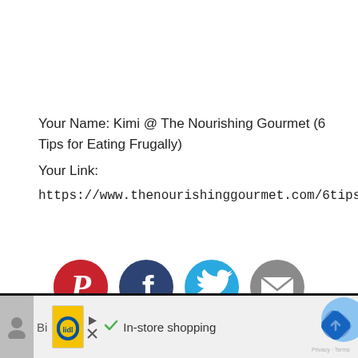Your Name: Kimi @ The Nourishing Gourmet (6 Tips for Eating Frugally)
Your Link:
https://www.thenourishinggourmet.com/6tips
[Figure (other): Pin it button with red border and cursive red text]
[Figure (other): Row of four social share icons: Pinterest (red), Facebook (dark blue), Twitter (light blue), Email (grey)]
[Figure (other): Bottom advertisement bar with Lidl logo, play/close buttons, checkmark icon, In-store shopping text, navigation diamond icon, and reCAPTCHA logo]